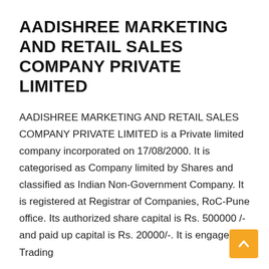AADISHREE MARKETING AND RETAIL SALES COMPANY PRIVATE LIMITED
AADISHREE MARKETING AND RETAIL SALES COMPANY PRIVATE LIMITED is a Private limited company incorporated on 17/08/2000. It is categorised as Company limited by Shares and classified as Indian Non-Government Company. It is registered at Registrar of Companies, RoC-Pune office. Its authorized share capital is Rs. 500000 /- and paid up capital is Rs. 20000/-. It is engaged in Trading
AADISHREE MARKETING AND RETAIL SALES COMPANY PRIVATE LIMITED's Corporate Identification Number (CIN) is U51909PN2000PTC015225 and its registration number is 015225. Its registered address is